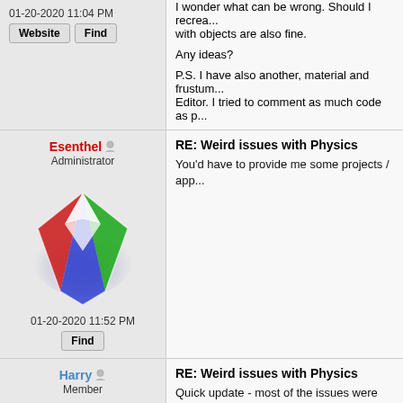I wonder what can be wrong. Should I recreate... with objects are also fine.

Any ideas?

P.S. I have also another, material and frustum... Editor. I tried to comment as much code as po...
01-20-2020 11:04 PM
Website | Find
Esenthel
Administrator
[Figure (logo): Esenthel diamond logo - geometric diamond shape with red, green and blue facets and white highlight on dark blue background]
01-20-2020 11:52 PM
Find
RE: Weird issues with Physics
You'd have to provide me some projects / app...
Harry
Member
[Figure (logo): Harry user avatar - stylized metallic letters Fv in 3D chrome/silver style]
RE: Weird issues with Physics
Quick update - most of the issues were relate... physics tests did not behave as I expected. An... set to ignore collision between two actor grou...